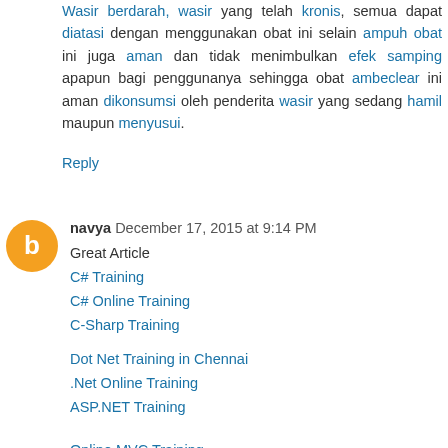Wasir berdarah, wasir yang telah kronis, semua dapat diatasi dengan menggunakan obat ini selain ampuh obat ini juga aman dan tidak menimbulkan efek samping apapun bagi penggunanya sehingga obat ambeclear ini aman dikonsumsi oleh penderita wasir yang sedang hamil maupun menyusui.
Reply
navya December 17, 2015 at 9:14 PM
Great Article
C# Training
C# Online Training
C-Sharp Training

Dot Net Training in Chennai
.Net Online Training
ASP.NET Training


Online MVC Training